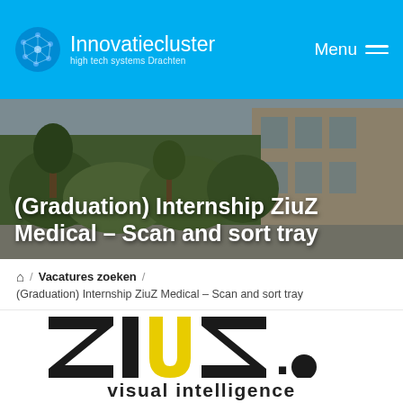Innovatiecluster high tech systems Drachten — Menu
[Figure (photo): Hero banner image showing a building exterior with greenery, overlaid with white bold text reading '(Graduation) Internship ZiuZ Medical – Scan and sort tray']
(Graduation) Internship ZiuZ Medical – Scan and sort tray
🏠 / Vacatures zoeken / (Graduation) Internship ZiuZ Medical – Scan and sort tray
[Figure (logo): ZiuZ visual intelligence logo — large bold black letters Z I U Z with the U rendered in yellow, followed by a period and black dot. Below reads 'visual intelligence' in bold black text.]